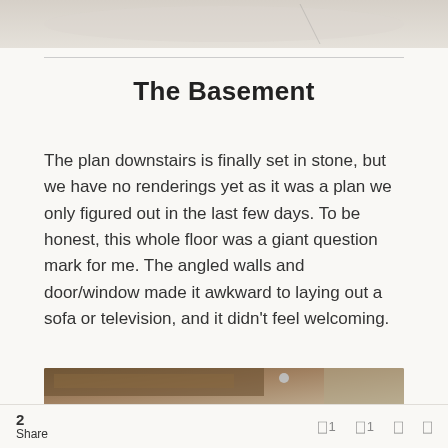[Figure (photo): Top portion of a photo, appears to be a light-colored surface or ground, partially cropped at the top of the page]
The Basement
The plan downstairs is finally set in stone, but we have no renderings yet as it was a plan we only figured out in the last few days. To be honest, this whole floor was a giant question mark for me. The angled walls and door/window made it awkward to laying out a sofa or television, and it didn't feel welcoming.
[Figure (photo): Bottom portion of a photo showing wooden beams or framing, partially cropped at the bottom of the page]
2 Share  [] 1  [] 1  []  []